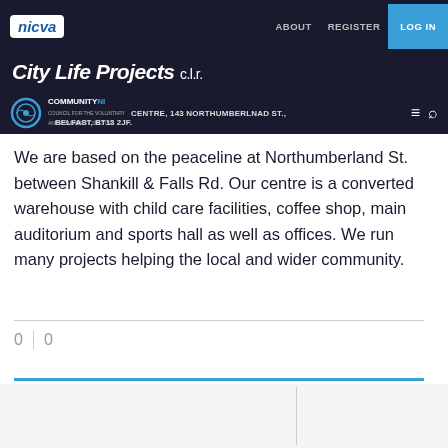NICVA | ABOUT | REGISTER | LOG IN
City Life Projects c.l.r
COMMUNITY NI — CENTRE, 143 NORTHUMBERLNAD ST., BELFAST, BT13 2JF.
We are based on the peaceline at Northumberland St. between Shankill & Falls Rd. Our centre is a converted warehouse with child care facilities, coffee shop, main auditorium and sports hall as well as offices. We run many projects helping the local and wider community.
0  0